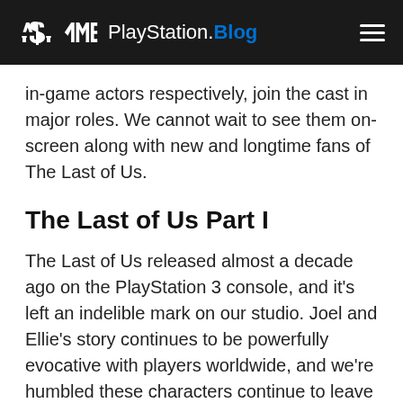PlayStation.Blog
in-game actors respectively, join the cast in major roles. We cannot wait to see them on-screen along with new and longtime fans of The Last of Us.
The Last of Us Part I
The Last of Us released almost a decade ago on the PlayStation 3 console, and it’s left an indelible mark on our studio. Joel and Ellie’s story continues to be powerfully evocative with players worldwide, and we’re humbled these characters continue to leave an impression.